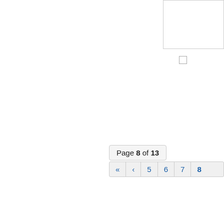[Figure (other): Large white rectangle with thin gray border in top-right area]
[Figure (other): Small white checkbox-like square with thin gray border]
Page 8 of 13  << < 5 6 7 8